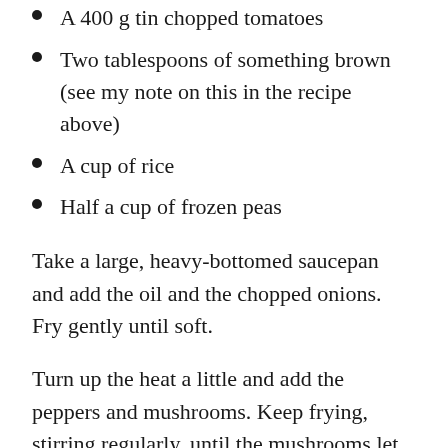A 400 g tin chopped tomatoes
Two tablespoons of something brown (see my note on this in the recipe above)
A cup of rice
Half a cup of frozen peas
Take a large, heavy-bottomed saucepan and add the oil and the chopped onions. Fry gently until soft.
Turn up the heat a little and add the peppers and mushrooms. Keep frying, stirring regularly, until the mushrooms let go of all their water and then reabsorb it. You want this vegetable mixture